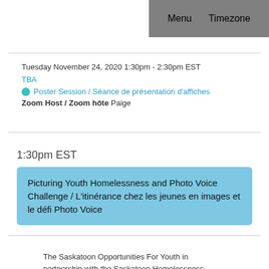Menu   Timezone
Tuesday November 24, 2020 1:30pm - 2:30pm EST
TBA
Poster Session / Séance de présentation d'affiches
Zoom Host / Zoom hôte Paige
1:30pm EST
Picturing Youth Homelessness and Photo Voice Challenge / L'itinérance chez les jeunes en images et le défi Photo Voice
The Saskatoon Opportunities For Youth in partnership with the Saskatoon Homelessness Initiatives Partnership